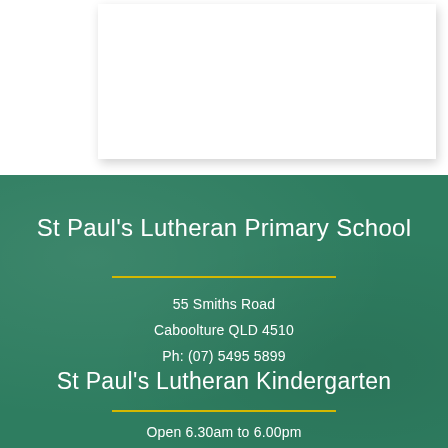[Figure (other): White card/panel on white background, partially visible at top of page]
St Paul's Lutheran Primary School
55 Smiths Road
Caboolture QLD 4510
Ph: (07) 5495 5899
St Paul's Lutheran Kindergarten
Open 6.30am to 6.00pm